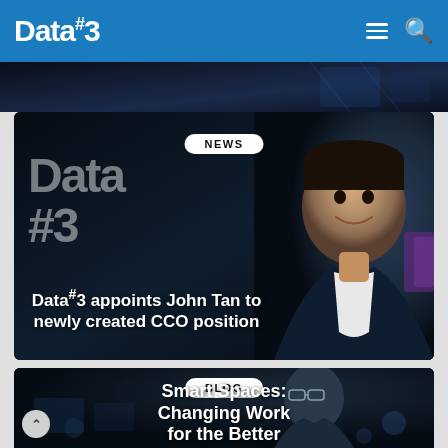Data#3
[Figure (photo): Dark strip image at the top, showing a blue-tinted technology scene]
[Figure (photo): News card with dark background showing Data#3 sign on left and John Tan smiling in suit on the right, with NEWS badge and title text]
Data#3 appoints John Tan to newly created CCO position
[Figure (photo): Blog card with dark blue background showing a man with glasses looking at screens, with BLOG badge and title text]
Smart Spaces: Changing Work for the Better